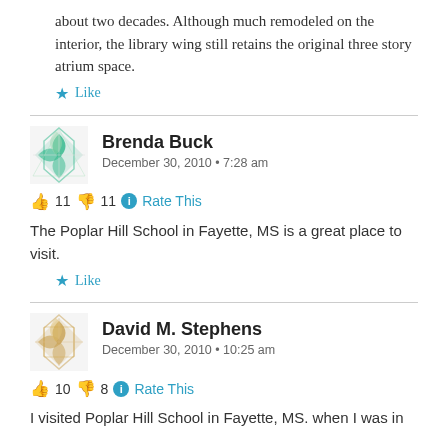about two decades. Although much remodeled on the interior, the library wing still retains the original three story atrium space.
★ Like
Brenda Buck
December 30, 2010 • 7:28 am
👍 11 👎 11 ℹ Rate This
The Poplar Hill School in Fayette, MS is a great place to visit.
★ Like
David M. Stephens
December 30, 2010 • 10:25 am
👍 10 👎 8 ℹ Rate This
I visited Poplar Hill School in Fayette, MS. when I was in